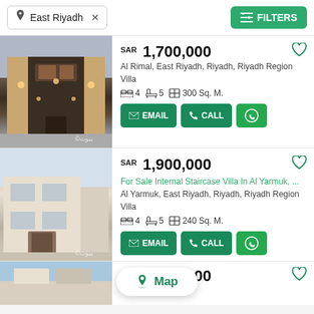East Riyadh × | FILTERS
SAR 1,700,000 | Al Rimal, East Riyadh, Riyadh, Riyadh Region | Villa | 4 bed | 5 bath | 300 Sq. M.
SAR 1,900,000 | For Sale Internal Staircase Villa In Al Yarmuk, ... | Al Yarmuk, East Riyadh, Riyadh, Riyadh Region | Villa | 4 bed | 5 bath | 240 Sq. M.
SAR 2,000,000